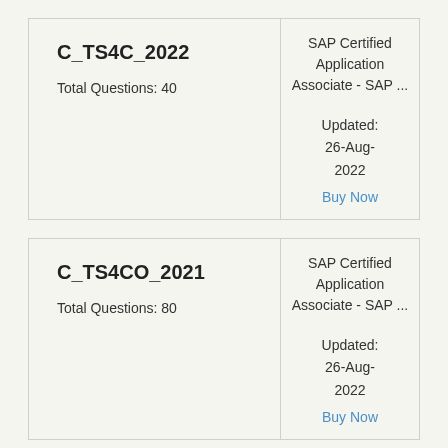| Exam | Details |
| --- | --- |
| C_TS4C_2022

Total Questions: 40 | SAP Certified Application Associate - SAP ...

Updated: 26-Aug-2022
Buy Now |
| Exam | Details |
| --- | --- |
| C_TS4CO_2021

Total Questions: 80 | SAP Certified Application Associate - SAP ...

Updated: 26-Aug-2022
Buy Now |